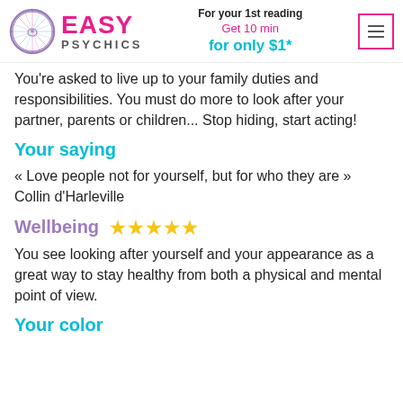Easy Psychics — For your 1st reading Get 10 min for only $1*
You're asked to live up to your family duties and responsibilities. You must do more to look after your partner, parents or children... Stop hiding, start acting!
Your saying
« Love people not for yourself, but for who they are » Collin d'Harleville
Wellbeing ★★★★★
You see looking after yourself and your appearance as a great way to stay healthy from both a physical and mental point of view.
Your color